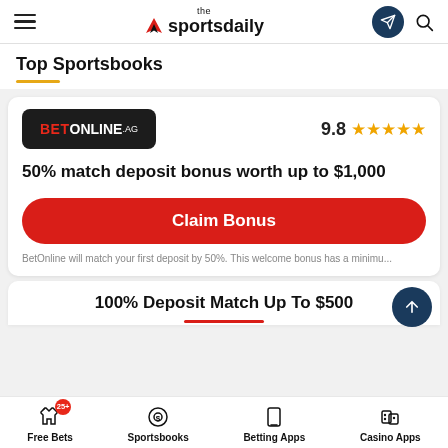the sportsdaily
Top Sportsbooks
[Figure (logo): BetOnline.ag dark logo on black rounded background]
9.8 ★★★★★
50% match deposit bonus worth up to $1,000
Claim Bonus
BetOnline will match your first deposit by 50%. This welcome bonus has a minimu...
100% Deposit Match Up To $500
Free Bets
Sportsbooks
Betting Apps
Casino Apps